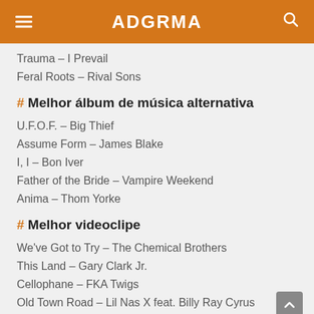ADGRMA
Trauma – I Prevail
Feral Roots – Rival Sons
# Melhor álbum de música alternativa
U.F.O.F. – Big Thief
Assume Form – James Blake
I, I – Bon Iver
Father of the Bride – Vampire Weekend
Anima – Thom Yorke
# Melhor videoclipe
We've Got to Try – The Chemical Brothers
This Land – Gary Clark Jr.
Cellophane – FKA Twigs
Old Town Road – Lil Nas X feat. Billy Ray Cyrus
Glad He's Gone – Tove Lo